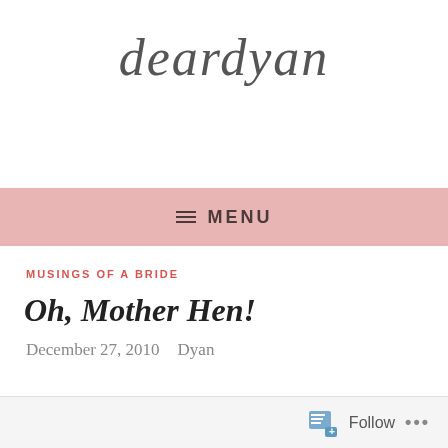deardyan
≡ MENU
MUSINGS OF A BRIDE
Oh, Mother Hen!
December 27, 2010   Dyan
Follow ...